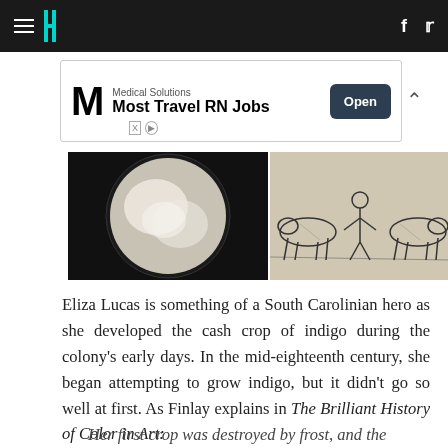HuffPost navigation with hamburger menu, logo, Facebook and Twitter icons
[Figure (screenshot): Advertisement banner: Medical Solutions - Most Travel RN Jobs - Open button]
[Figure (photo): Left: circular object with white fluffy content on dark background. Right: vintage engraving of animals (possibly cattle) with human figure.]
Eliza Lucas is something of a South Carolinian hero as she developed the cash crop of indigo during the colony's early days. In the mid-eighteenth century, she began attempting to grow indigo, but it didn't go so well at first. As Finlay explains in The Brilliant History of Color in Art:
Her first crop was destroyed by frost, and the